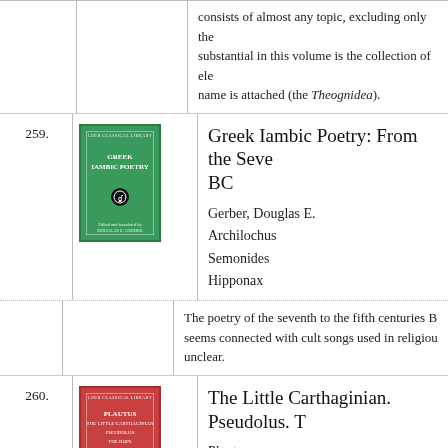consists of almost any topic, excluding only the substantial in this volume is the collection of ele name is attached (the Theognidea).
259. Greek Iambic Poetry: From the Seventh to the Fifth Centuries BC
Gerber, Douglas E.
Archilochus
Semonides
Hipponax
The poetry of the seventh to the fifth centuries B seems connected with cult songs used in religiou unclear.
260. The Little Carthaginian. Pseudolus. T
Plautus
de Melo, Wolfgang
The comedies of Plautus, who brilliantly adapte c. 205–184 BCE, are the earliest Latin works to su of the European theatrical tradition from Shakes